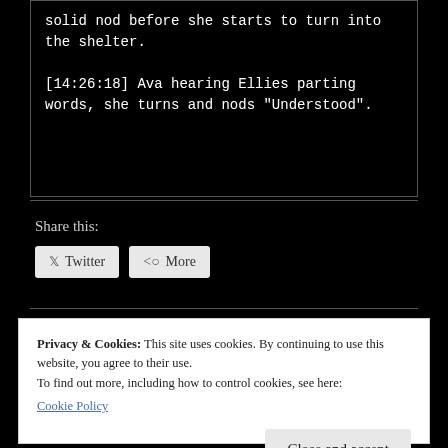solid nod before she starts to turn into the shelter.

[14:26:18] Ava hearing Ellies parting words, she turns and nods "Understood".
Share this:
Twitter  More
Privacy & Cookies: This site uses cookies. By continuing to use this website, you agree to their use.
To find out more, including how to control cookies, see here:
Cookie Policy

Close and accept